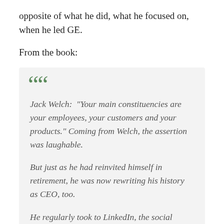opposite of what he did, what he focused on, when he led GE.
From the book:
Jack Welch: “Your main constituencies are your employees, your customers and your products.” Coming from Welch, the assertion was laughable.

But just as he had reinvited himself in retirement, he was now rewriting his history as CEO, too.

He regularly took to LinkedIn, the social network for professionals, to publish